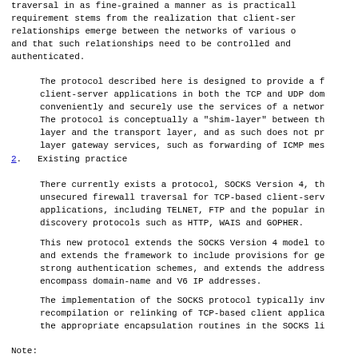traversal in as fine-grained a manner as is practical. This requirement stems from the realization that client-server relationships emerge between the networks of various organizations and that such relationships need to be controlled and authenticated.
The protocol described here is designed to provide a framework for client-server applications in both the TCP and UDP domains to conveniently and securely use the services of a network firewall. The protocol is conceptually a "shim-layer" between the application layer and the transport layer, and as such does not provide network layer gateway services, such as forwarding of ICMP messages.
2.   Existing practice
There currently exists a protocol, SOCKS Version 4, that provides for unsecured firewall traversal for TCP-based client-server applications, including TELNET, FTP and the popular information-discovery protocols such as HTTP, WAIS and GOPHER.
This new protocol extends the SOCKS Version 4 model to include UDP, and extends the framework to include provisions for generalized strong authentication schemes, and extends the address space to encompass domain-name and V6 IP addresses.
The implementation of the SOCKS protocol typically involves the recompilation or relinking of TCP-based client applications to use the appropriate encapsulation routines in the SOCKS library.
Note: